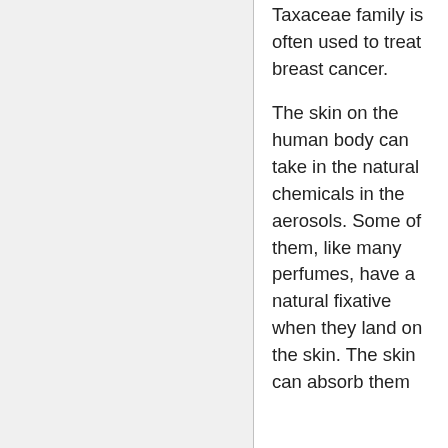Taxaceae family is often used to treat breast cancer.
The skin on the human body can take in the natural chemicals in the aerosols. Some of them, like many perfumes, have a natural fixative when they land on the skin. The skin can absorb them